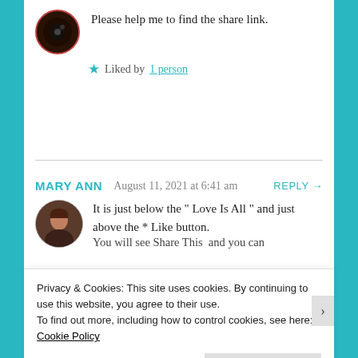Please help me to find the share link.
★ Liked by 1 person
MARY ANN   August 11, 2021 at 6:41 am   REPLY →
It is just below the " Love Is All " and just above the * Like button.
You will see Share This  and you can
Privacy & Cookies: This site uses cookies. By continuing to use this website, you agree to their use.
To find out more, including how to control cookies, see here: Cookie Policy
Close and accept